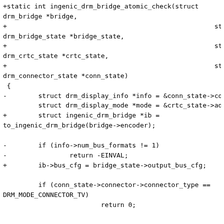+static int ingenic_drm_bridge_atomic_check(struct drm_bridge *bridge,
+                                                          struct drm_bridge_state *bridge_state,
+                                                          struct drm_crtc_state *crtc_state,
+                                                          struct drm_connector_state *conn_state)
 {
-        struct drm_display_info *info = &conn_state->connector->display_info;
         struct drm_display_mode *mode = &crtc_state->adjusted_mode;
+        struct ingenic_drm_bridge *ib = to_ingenic_drm_bridge(bridge->encoder);

-        if (info->num_bus_formats != 1)
-                return -EINVAL;
+        ib->bus_cfg = bridge_state->output_bus_cfg;

         if (conn_state->connector->connector_type == DRM_MODE_CONNECTOR_TV)
                         return 0;

-        switch (*info->bus_formats) {
+        switch (bridge_state->output_bus_cfg.format) {
         case MEDIA_BUS_FMT_RGB888_3X8:
         case MEDIA_BUS_FMT_RGB888_3X8_DELTA:
                         /*
@@ -911,8 +933,16 @@ static const struct